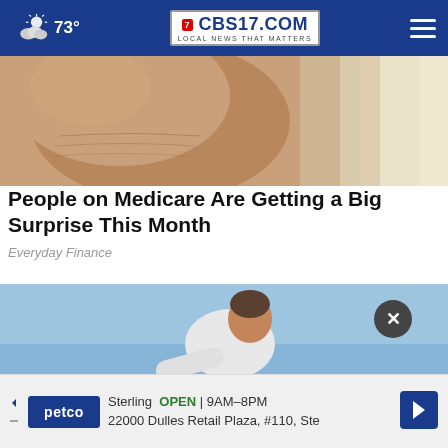73° CBS17.COM LOCAL NEWS THAT MATTERS
[Figure (photo): Close-up of a human finger/thumb, partial view, skin texture visible, warm skin tones]
People on Medicare Are Getting a Big Surprise This Month
Everyday Finance
[Figure (photo): Middle-aged man in white t-shirt leaning forward against a blue sky background, possibly stretching or exercising]
[Figure (screenshot): Ad banner for Petco at Sterling — OPEN 9AM-8PM, 22000 Dulles Retail Plaza, #110, Ste — with Petco logo and navigation arrow icon]